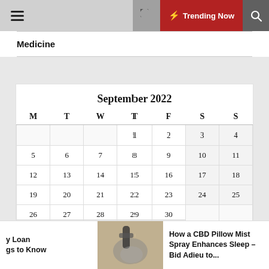Trending Now
Medicine
| M | T | W | T | F | S | S |
| --- | --- | --- | --- | --- | --- | --- |
|  |  |  | 1 | 2 | 3 | 4 |
| 5 | 6 | 7 | 8 | 9 | 10 | 11 |
| 12 | 13 | 14 | 15 | 16 | 17 | 18 |
| 19 | 20 | 21 | 22 | 23 | 24 | 25 |
| 26 | 27 | 28 | 29 | 30 |  |  |
y Loan
gs to Know
How a CBD Pillow Mist Spray Enhances Sleep – Bid Adieu to...